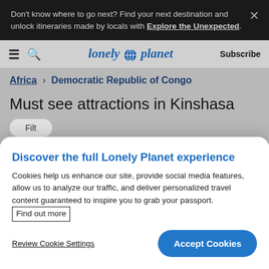Don't know where to go next? Find your next destination and unlock itineraries made by locals with Explore the Unexpected.
[Figure (screenshot): Lonely Planet website navigation bar with hamburger menu, search icon, Lonely Planet logo, and Subscribe link]
Africa > Democratic Republic of Congo
Must see attractions in Kinshasa
Discover the full Lonely Planet experience
Cookies help us enhance our site, provide social media features, allow us to analyze our traffic, and deliver personalized travel content guaranteed to inspire you to grab your passport. Find out more
Review Cookie Settings
Accept Cookies